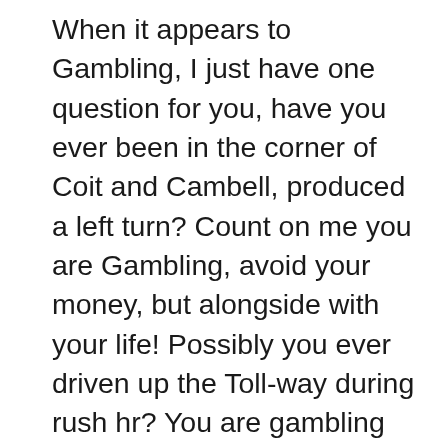When it appears to Gambling, I just have one question for you, have you ever been in the corner of Coit and Cambell, produced a left turn? Count on me you are Gambling, avoid your money, but alongside with your life! Possibly you ever driven up the Toll-way during rush hr? You are gambling each time you take on an automobile. Who am I hurting if I sit down at a texas holdem table and play, our kids? What should I be doing with my money instead, buy beer and cigarettes, take skydiving lessons? Additionally I be aware of the rules Associated with Dallas Fort Worth Metroplex: I pay back to jump out of your respective plane, purchase wine and cigars, pay money to view naked women dance, rent XXX movies, bungee jump from a tower, shoot people with paint balls in a